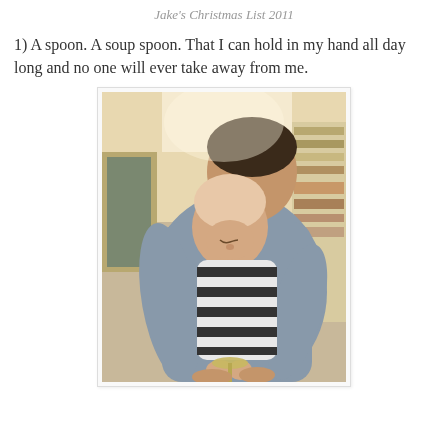Jake's Christmas List 2011
1) A spoon. A soup spoon. That I can hold in my hand all day long and no one will ever take away from me.
[Figure (photo): A baby in a black and white striped onesie being held by an adult in a grey shirt, both looking down at a spoon the baby is holding, in a home interior with bookshelves visible in the background.]